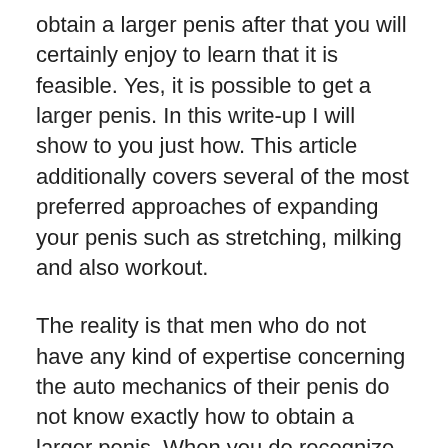obtain a larger penis after that you will certainly enjoy to learn that it is feasible. Yes, it is possible to get a larger penis. In this write-up I will show to you just how. This article additionally covers several of the most preferred approaches of expanding your penis such as stretching, milking and also workout.
The reality is that men who do not have any kind of expertise concerning the auto mechanics of their penis do not know exactly how to obtain a larger penis. When you do recognize the technicians of your penis, you will certainly find that it is feasible to make your penis longer as well as thicker in size. This can be accomplished with the different workouts that you can perform. You can carry out a collection of exercises as well as this is a good idea in that you will